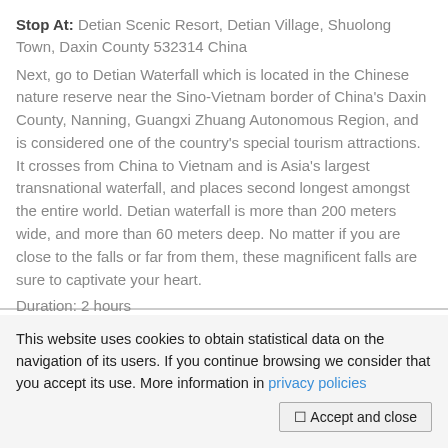Stop At: Detian Scenic Resort, Detian Village, Shuolong Town, Daxin County 532314 China
Next, go to Detian Waterfall which is located in the Chinese nature reserve near the Sino-Vietnam border of China's Daxin County, Nanning, Guangxi Zhuang Autonomous Region, and is considered one of the country's special tourism attractions. It crosses from China to Vietnam and is Asia's largest transnational waterfall, and places second longest amongst the entire world. Detian waterfall is more than 200 meters wide, and more than 60 meters deep. No matter if you are close to the falls or far from them, these magnificent falls are sure to captivate your heart.
Duration: 2 hours
This website uses cookies to obtain statistical data on the navigation of its users. If you continue browsing we consider that you accept its use. More information in privacy policies